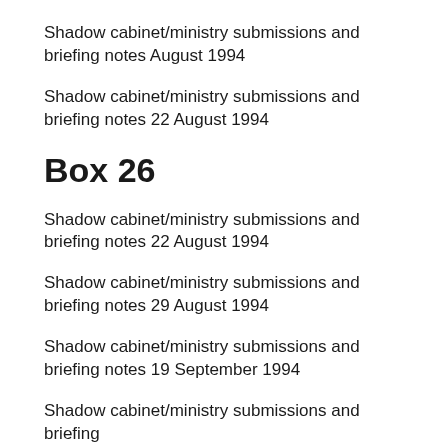Shadow cabinet/ministry submissions and briefing notes August 1994
Shadow cabinet/ministry submissions and briefing notes 22 August 1994
Box 26
Shadow cabinet/ministry submissions and briefing notes 22 August 1994
Shadow cabinet/ministry submissions and briefing notes 29 August 1994
Shadow cabinet/ministry submissions and briefing notes 19 September 1994
Shadow cabinet/ministry submissions and briefing